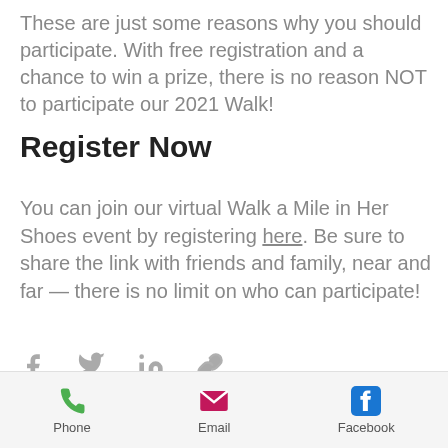These are just some reasons why you should participate. With free registration and a chance to win a prize, there is no reason NOT to participate our 2021 Walk!
Register Now
You can join our virtual Walk a Mile in Her Shoes event by registering here. Be sure to share the link with friends and family, near and far — there is no limit on who can participate!
[Figure (infographic): Social share icons: Facebook, Twitter, LinkedIn, and a link/chain icon, all in gray]
Phone   Email   Facebook